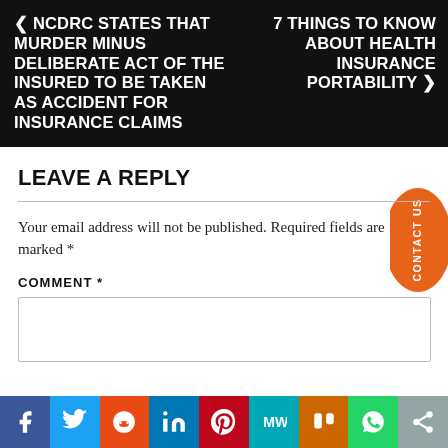< NCDRC STATES THAT MURDER MINUS DELIBERATE ACT OF THE INSURED TO BE TAKEN AS ACCIDENT FOR INSURANCE CLAIMS
7 THINGS TO KNOW ABOUT HEALTH INSURANCE PORTABILITY >
LEAVE A REPLY
Your email address will not be published. Required fields are marked *
COMMENT *